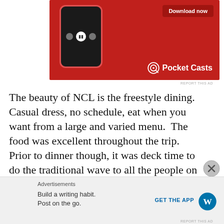[Figure (screenshot): Pocket Casts app advertisement on red background with smartphone showing music player controls and 'Download now' button]
The beauty of NCL is the freestyle dining.  Casual dress, no schedule, eat when you want from a large and varied menu.  The food was excellent throughout the trip.  Prior to dinner though, it was deck time to do the traditional wave to all the people on shore who could care less (probably thinking we are bunch of saps) that we are leaving.  Yes the ship was leaving.  And leaving, and leaving, and leaving.  Apparently, it
[Figure (screenshot): WordPress app advertisement: 'Build a writing habit. Post on the go.' with GET THE APP button and WordPress logo]